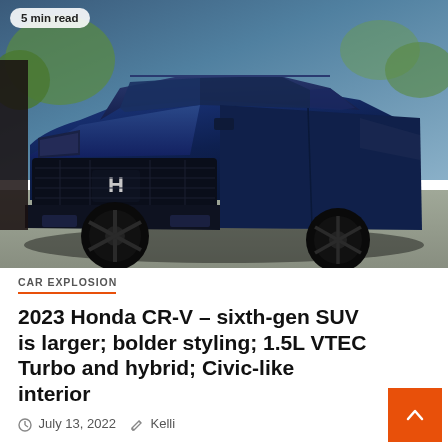[Figure (photo): Blue 2023 Honda CR-V SUV photographed from front-left angle, dark navy blue color with black wheels and grille, parked on pavement with trees in background]
5 min read
CAR EXPLOSION
2023 Honda CR-V – sixth-gen SUV is larger; bolder styling; 1.5L VTEC Turbo and hybrid; Civic-like interior
July 13, 2022   Kelli